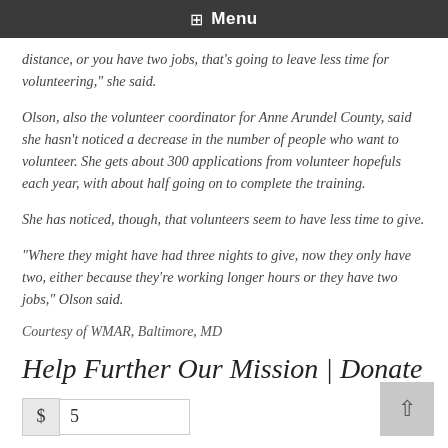Menu
distance, or you have two jobs, that's going to leave less time for volunteering," she said.
Olson, also the volunteer coordinator for Anne Arundel County, said she hasn't noticed a decrease in the number of people who want to volunteer. She gets about 300 applications from volunteer hopefuls each year, with about half going on to complete the training.
She has noticed, though, that volunteers seem to have less time to give.
“Where they might have had three nights to give, now they only have two, either because they’re working longer hours or they have two jobs,” Olson said.
Courtesy of WMAR, Baltimore, MD
Help Further Our Mission | Donate